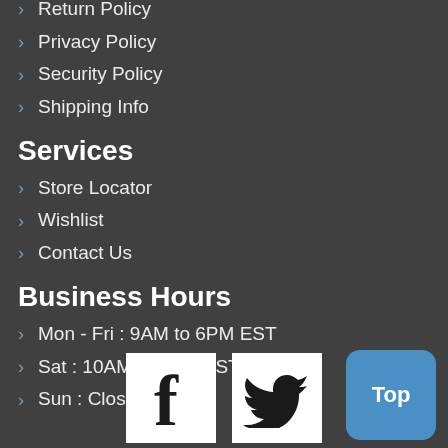Return Policy
Privacy Policy
Security Policy
Shipping Info
Services
Store Locator
Wishlist
Contact Us
Business Hours
Mon - Fri : 9AM to 6PM EST
Sat : 10AM to 5PM EST
Sun : Closed
[Figure (logo): Facebook icon white square]
[Figure (logo): Twitter bird icon white square]
Top